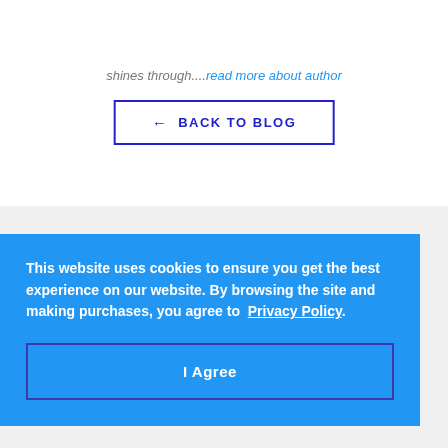EverPest — navigation header with logo, search, cart, and menu icons
shines through....Read more about author
← BACK TO BLOG
This website uses cookies to ensure you get the best experience on our website. By browsing the site and making purchases, you agree to Privacy Policy
I Agree